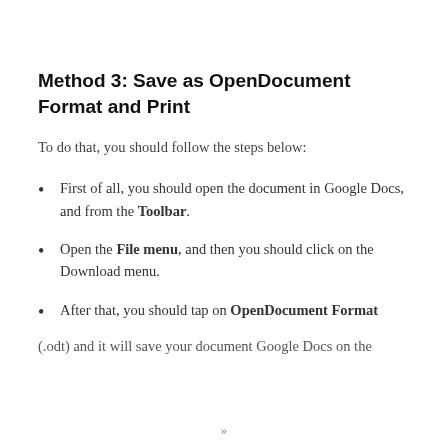Method 3: Save as OpenDocument Format and Print
To do that, you should follow the steps below:
First of all, you should open the document in Google Docs, and from the Toolbar.
Open the File menu, and then you should click on the Download menu.
After that, you should tap on OpenDocument Format (.odt) and it will save your document Google Docs on the
»